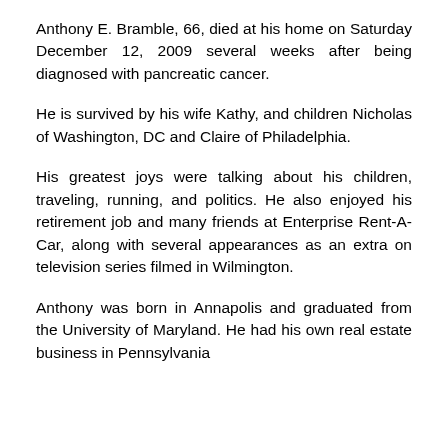Anthony E. Bramble, 66, died at his home on Saturday December 12, 2009 several weeks after being diagnosed with pancreatic cancer.
He is survived by his wife Kathy, and children Nicholas of Washington, DC and Claire of Philadelphia.
His greatest joys were talking about his children, traveling, running, and politics. He also enjoyed his retirement job and many friends at Enterprise Rent-A-Car, along with several appearances as an extra on television series filmed in Wilmington.
Anthony was born in Annapolis and graduated from the University of Maryland. He had his own real estate business in Pennsylvania